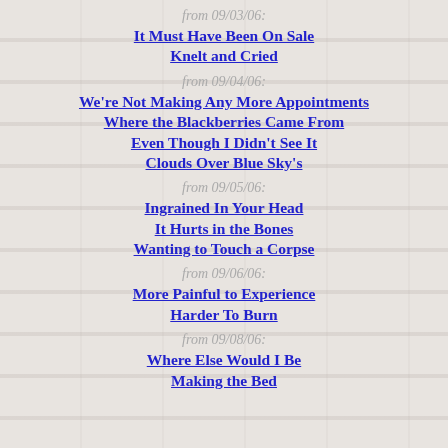from 09/03/06:
It Must Have Been On Sale
Knelt and Cried
from 09/04/06:
We're Not Making Any More Appointments
Where the Blackberries Came From
Even Though I Didn't See It
Clouds Over Blue Sky's
from 09/05/06:
Ingrained In Your Head
It Hurts in the Bones
Wanting to Touch a Corpse
from 09/06/06:
More Painful to Experience
Harder To Burn
from 09/08/06:
Where Else Would I Be
Making the Bed